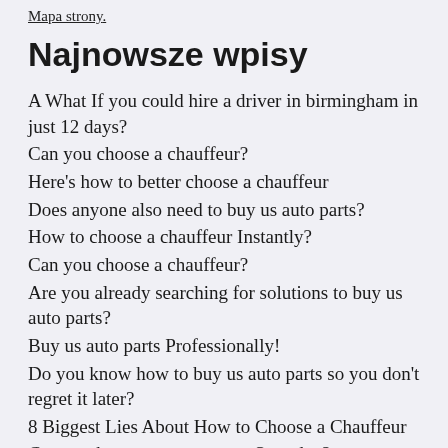Mapa strony.
Najnowsze wpisy
A What If you could hire a driver in birmingham in just 12 days?
Can you choose a chauffeur?
Here's how to better choose a chauffeur
Does anyone also need to buy us auto parts?
How to choose a chauffeur Instantly?
Can you choose a chauffeur?
Are you already searching for solutions to buy us auto parts?
Buy us auto parts Professionally!
Do you know how to buy us auto parts so you don't regret it later?
8 Biggest Lies About How to Choose a Chauffeur
Can you buy us auto parts on Saturday?
Is it worth buying us auto parts in 2020?
Can you choose a chauffeur?